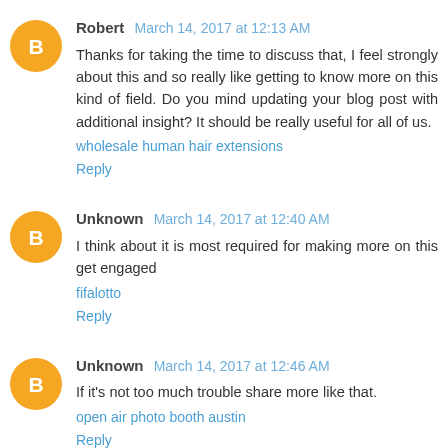Robert March 14, 2017 at 12:13 AM
Thanks for taking the time to discuss that, I feel strongly about this and so really like getting to know more on this kind of field. Do you mind updating your blog post with additional insight? It should be really useful for all of us.
wholesale human hair extensions
Reply
Unknown March 14, 2017 at 12:40 AM
I think about it is most required for making more on this get engaged
fifalotto
Reply
Unknown March 14, 2017 at 12:46 AM
If it's not too much trouble share more like that.
open air photo booth austin
Reply